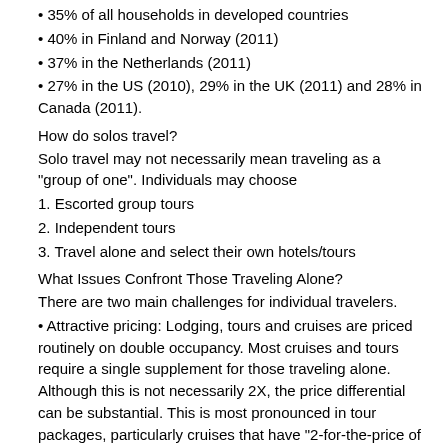• 35% of all households in developed countries
• 40% in Finland and Norway (2011)
• 37% in the Netherlands (2011)
• 27% in the US (2010), 29% in the UK (2011) and 28% in Canada (2011).
How do solos travel?
Solo travel may not necessarily mean traveling as a “group of one”. Individuals may choose
1. Escorted group tours
2. Independent tours
3. Travel alone and select their own hotels/tours
What Issues Confront Those Traveling Alone?
There are two main challenges for individual travelers.
• Attractive pricing: Lodging, tours and cruises are priced routinely on double occupancy. Most cruises and tours require a single supplement for those traveling alone. Although this is not necessarily 2X, the price differential can be substantial. This is most pronounced in tour packages, particularly cruises that have “2-for-the-price of 1” early booking promotional. As a result, those traveling alone may pay 3-4X couples/pairs.